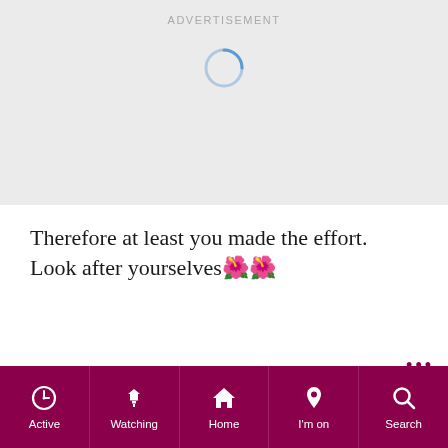ADVERTISEMENT
[Figure (other): Loading spinner circle indicator in blue/grey color]
Therefore at least you made the effort. Look after yourselves🌺🌺
ADVERTISEMENT
[Figure (infographic): Bottom navigation bar with icons: Active (clock), Watching (filter), Home (house), I'm on (pin), Search (magnifier) on dark pink/maroon background]